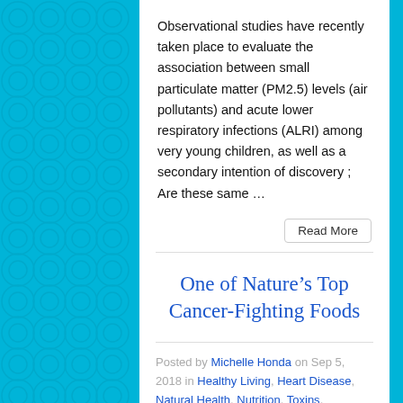Observational studies have recently taken place to evaluate the association between small particulate matter (PM2.5) levels (air pollutants) and acute lower respiratory infections (ALRI) among very young children, as well as a secondary intention of discovery ; Are these same …
Read More
One of Nature's Top Cancer-Fighting Foods
Posted by Michelle Honda on Sep 5, 2018 in Healthy Living, Heart Disease, Natural Health, Nutrition, Toxins,